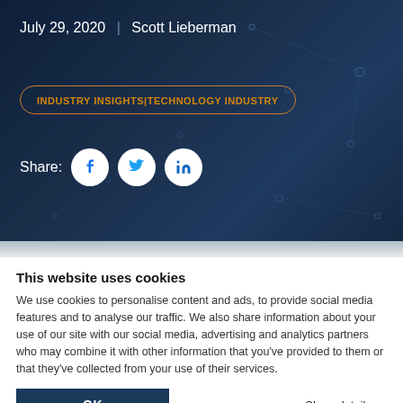July 29, 2020 | Scott Lieberman
INDUSTRY INSIGHTS|TECHNOLOGY INDUSTRY
[Figure (infographic): Share row with Facebook, Twitter, and LinkedIn social media icon circles on dark navy background]
This website uses cookies
We use cookies to personalise content and ads, to provide social media features and to analyse our traffic. We also share information about your use of our site with our social media, advertising and analytics partners who may combine it with other information that you've provided to them or that they've collected from your use of their services.
OK
Show details